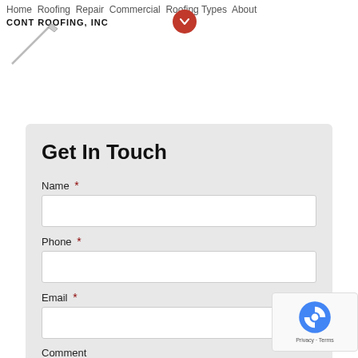Home Roofing Repair Commercial Roofing Types About | CONT ROOFING, INC
Get In Touch
Name *
Phone *
Email *
Comment